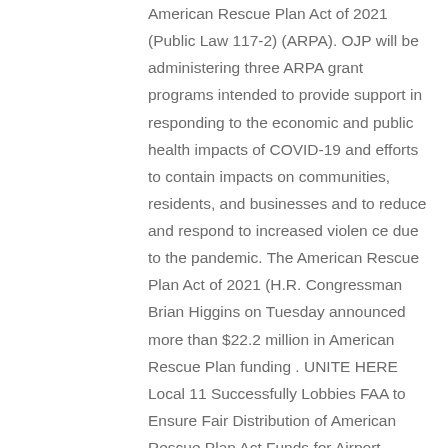American Rescue Plan Act of 2021 (Public Law 117-2) (ARPA). OJP will be administering three ARPA grant programs intended to provide support in responding to the economic and public health impacts of COVID-19 and efforts to contain impacts on communities, residents, and businesses and to reduce and respond to increased violen ce due to the pandemic. The American Rescue Plan Act of 2021 (H.R. Congressman Brian Higgins on Tuesday announced more than $22.2 million in American Rescue Plan funding . UNITE HERE Local 11 Successfully Lobbies FAA to Ensure Fair Distribution of American Rescue Plan Act Funds for Airport Concessionaires in Southern California and Arizona Dec 22, 2021 Dec 22, 2021 Frederick Municipal Airport Receives Federal Funding. WASHINGTON - Arizona Senators Kyrsten Sinema and Mark Kelly announced that Arizona airports and airport concessionaires will receive more than $47 million in